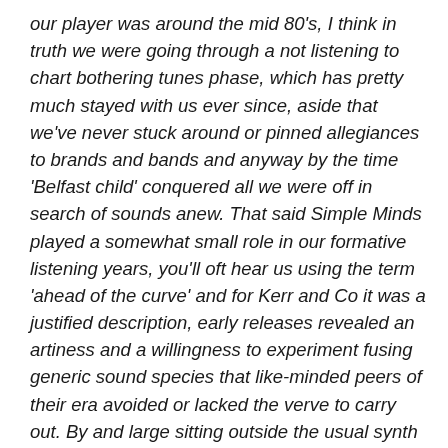our player was around the mid 80's, I think in truth we were going through a not listening to chart bothering tunes phase, which has pretty much stayed with us ever since, aside that we've never stuck around or pinned allegiances to brands and bands and anyway by the time 'Belfast child' conquered all we were off in search of sounds anew. That said Simple Minds played a somewhat small role in our formative listening years, you'll oft hear us using the term 'ahead of the curve' and for Kerr and Co it was a justified description, early releases revealed an artiness and a willingness to experiment fusing generic sound species that like-minded peers of their era avoided or lacked the verve to carry out. By and large sitting outside the usual synth sound camp (appealing to both admiring tribes of Joy Division and mark 1 Human League), Simple Minds offered a cooler proposition, their sounds abstract and oft